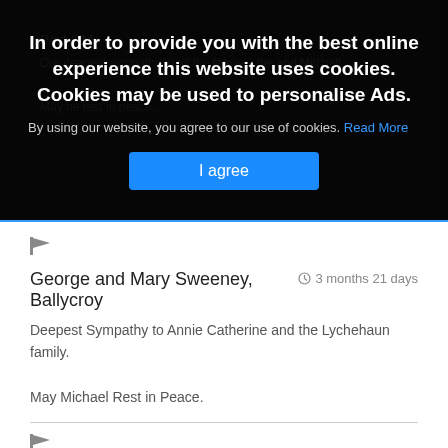In order to provide you with the best online experience this website uses cookies. Cookies may be used to personalise Ads.
By using our website, you agree to our use of cookies. Read More
I agree
George and Mary Sweeney, Ballycroy   3 months 21 days
Deepest Sympathy to Annie Catherine and the Lychehaun family.
May Michael Rest in Peace.